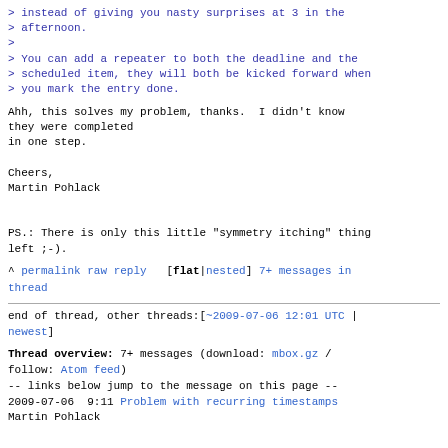> instead of giving you nasty surprises at 3 in the afternoon.
>
> You can add a repeater to both the deadline and the scheduled item, they will both be kicked forward when you mark the entry done.
Ahh, this solves my problem, thanks.  I didn't know they were completed in one step.

Cheers,
Martin Pohlack


PS.: There is only this little "symmetry itching" thing left ;-).
^ permalink raw reply   [flat|nested] 7+ messages in thread
end of thread, other threads:[~2009-07-06 12:01 UTC | newest]
Thread overview: 7+ messages (download: mbox.gz / follow: Atom feed)
-- links below jump to the message on this page --
2009-07-06  9:11 Problem with recurring timestamps
Martin Pohlack